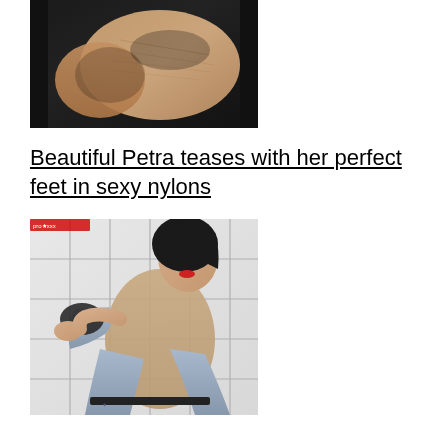[Figure (photo): Close-up photo of a foot in sheer black nylon/stocking against a dark background, showing the sole and heel detail]
Beautiful Petra teases with her perfect feet in sexy nylons
[Figure (photo): Young brunette woman with red lips wearing jeans and a beige top, seated and holding her foot up showing a dark sock partially removed, with a tiled background]